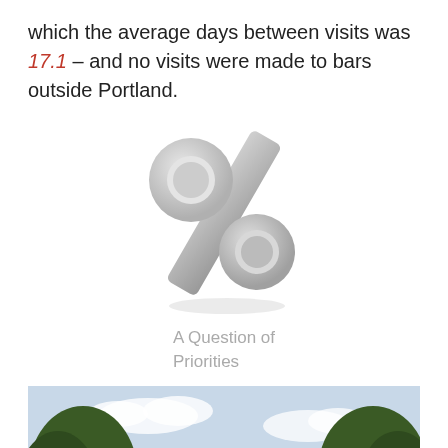which the average days between visits was 17.1 – and no visits were made to bars outside Portland.
[Figure (illustration): 3D rendered gray percent sign symbol]
A Question of Priorities
[Figure (photo): Exterior photo of a Restaurant & Pub with yellow signage reading RESTAURANT & PUB and Largest Selection of Micro-Brews in the universe, surrounded by trees, with an American flag visible]